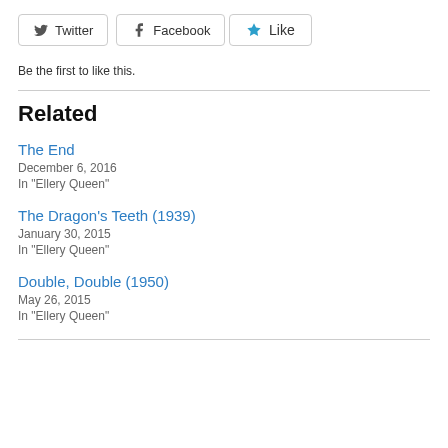[Figure (other): Twitter and Facebook share buttons]
[Figure (other): Like button with star icon]
Be the first to like this.
Related
The End
December 6, 2016
In "Ellery Queen"
The Dragon's Teeth (1939)
January 30, 2015
In "Ellery Queen"
Double, Double (1950)
May 26, 2015
In "Ellery Queen"